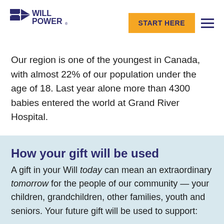[Figure (logo): WillPower logo with geometric arrow shapes in dark purple/navy]
Our region is one of the youngest in Canada, with almost 22% of our population under the age of 18. Last year alone more than 4300 babies entered the world at Grand River Hospital.
How your gift will be used
A gift in your Will today can mean an extraordinary tomorrow for the people of our community — your children, grandchildren, other families, youth and seniors. Your future gift will be used to support: